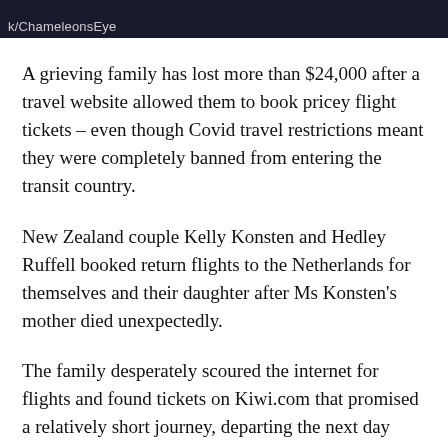k/ChameleonsEye
A grieving family has lost more than $24,000 after a travel website allowed them to book pricey flight tickets – even though Covid travel restrictions meant they were completely banned from entering the transit country.
New Zealand couple Kelly Konsten and Hedley Ruffell booked return flights to the Netherlands for themselves and their daughter after Ms Konsten's mother died unexpectedly.
The family desperately scoured the internet for flights and found tickets on Kiwi.com that promised a relatively short journey, departing the next day